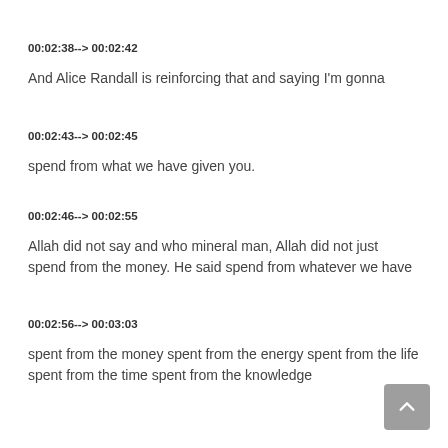00:02:38--> 00:02:42
And Alice Randall is reinforcing that and saying I'm gonna
00:02:43--> 00:02:45
spend from what we have given you.
00:02:46--> 00:02:55
Allah did not say and who mineral man, Allah did not just spend from the money. He said spend from whatever we have
00:02:56--> 00:03:03
spent from the money spent from the energy spent from the life spent from the time spent from the knowledge